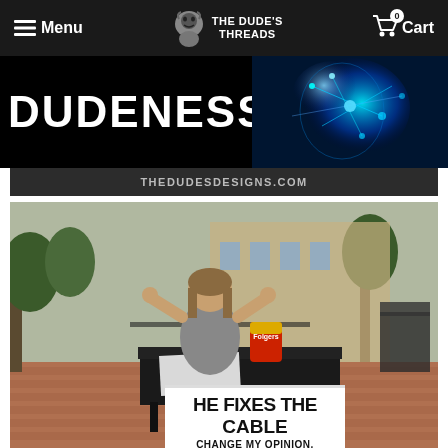Menu | THE DUDE'S THREADS | Cart 0
[Figure (screenshot): Website banner with bold white text 'DUDENESS' on black background left side, and glowing blue brain/neuron image on right side]
THEDUDESDESIGNS.COM
[Figure (photo): Outdoor photo of a relaxed man sitting at a folding table with a Folgers coffee can, holding a sign that reads 'HE FIXES THE CABLE CHANGE MY OPINION, MAN']